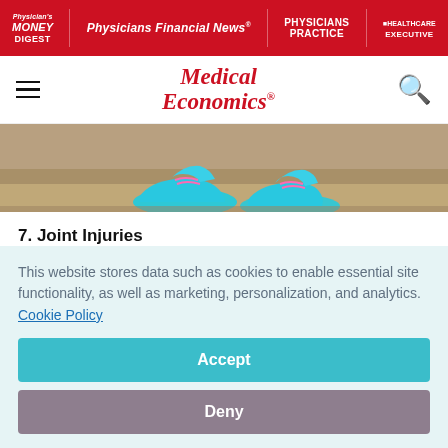Physician's Money Digest | Physicians Financial News | Physicians Practice | Healthcare Executive
Medical Economics
[Figure (photo): Close-up photo of blue and pink athletic sneakers on a brown dirt or asphalt surface]
7. Joint Injuries
Hello, weekend warriors! In addition to making new friends and enjoying the outdoors, your beer-league softball or
This website stores data such as cookies to enable essential site functionality, as well as marketing, personalization, and analytics. Cookie Policy
Accept
Deny